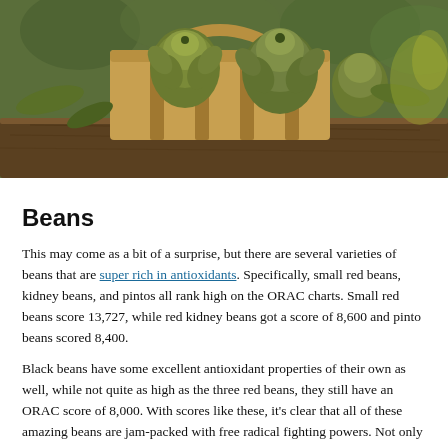[Figure (photo): Photo of artichokes in a wooden basket sitting on a rustic wooden surface, with green leafy background]
Beans
This may come as a bit of a surprise, but there are several varieties of beans that are super rich in antioxidants. Specifically, small red beans, kidney beans, and pintos all rank high on the ORAC charts. Small red beans score 13,727, while red kidney beans got a score of 8,600 and pinto beans scored 8,400.
Black beans have some excellent antioxidant properties of their own as well, while not quite as high as the three red beans, they still have an ORAC score of 8,000. With scores like these, it's clear that all of these amazing beans are jam-packed with free radical fighting powers. Not only that, but beans are an excellent